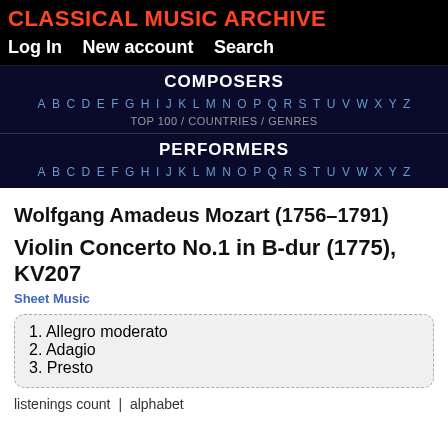CLASSICAL MUSIC ARCHIVE
Log In   New account   Search
COMPOSERS
A B C D E F G H I J K L M N O P Q R S T U V W X Y Z
TOP 100 / COUNTRIES / GENRES
PERFORMERS
A B C D E F G H I J K L M N O P Q R S T U V W X Y Z
Wolfgang Amadeus Mozart (1756–1791)
Violin Concerto No.1 in B-dur (1775), KV207
Sheet Music
1. Allegro moderato
2. Adagio
3. Presto
listenings count | alphabet